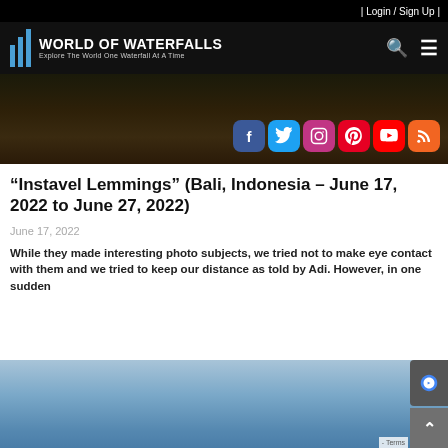| Login / Sign Up |
[Figure (logo): World of Waterfalls logo with blue vertical bars and text 'World of Waterfalls – Explore The World One Waterfall At A Time']
[Figure (photo): Dark jungle/nature scene with social media icons (Facebook, Twitter, Instagram, Pinterest, YouTube, RSS) overlaid at bottom right]
“Instavel Lemmings” (Bali, Indonesia – June 17, 2022 to June 27, 2022)
June 17, 2022
While they made interesting photo subjects, we tried not to make eye contact with them and we tried to keep our distance as told by Adi. However, in one sudden
[Figure (photo): Blue sky with gradient, bottom portion of a second article image]